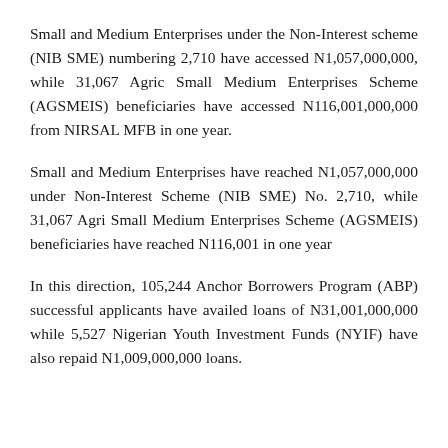Small and Medium Enterprises under the Non-Interest scheme (NIB SME) numbering 2,710 have accessed N1,057,000,000, while 31,067 Agric Small Medium Enterprises Scheme (AGSMEIS) beneficiaries have accessed N116,001,000,000 from NIRSAL MFB in one year.
Small and Medium Enterprises have reached N1,057,000,000 under Non-Interest Scheme (NIB SME) No. 2,710, while 31,067 Agri Small Medium Enterprises Scheme (AGSMEIS) beneficiaries have reached N116,001 in one year
In this direction, 105,244 Anchor Borrowers Program (ABP) successful applicants have availed loans of N31,001,000,000 while 5,527 Nigerian Youth Investment Funds (NYIF) have also repaid N1,009,000,000 loans.